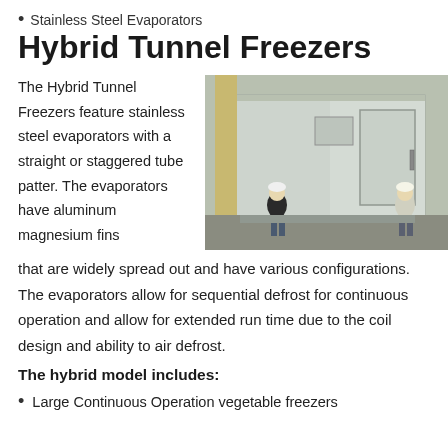Stainless Steel Evaporators
Hybrid Tunnel Freezers
The Hybrid Tunnel Freezers feature stainless steel evaporators with a straight or staggered tube patter. The evaporators have aluminum magnesium fins that are widely spread out and have various configurations. The evaporators allow for sequential defrost for continuous operation and allow for extended run time due to the coil design and ability to air defrost.
[Figure (photo): Large industrial hybrid tunnel freezer unit being moved by two workers in hard hats outdoors near a building.]
The hybrid model includes:
Large Continuous Operation vegetable freezers